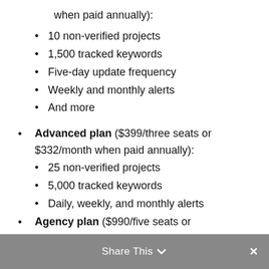when paid annually):
10 non-verified projects
1,500 tracked keywords
Five-day update frequency
Weekly and monthly alerts
And more
Advanced plan ($399/three seats or $332/month when paid annually):
25 non-verified projects
5,000 tracked keywords
Daily, weekly, and monthly alerts
Three-day update frequency
And more
Agency plan ($990/five seats or
Share This  ×